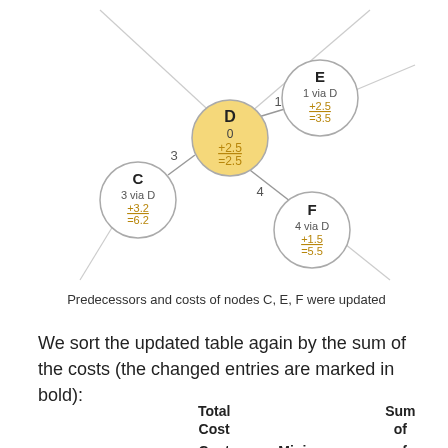[Figure (network-graph): Network graph showing node D (highlighted in yellow) at center with cost 0 +2.5 =2.5, connected to node C (3 via D, +3.2, =6.2) with edge weight 3, node E (1 via D, +2.5, =3.5) with edge weight 1, and node F (4 via D, +1.5, =5.5) with edge weight 4. Additional faint lines extend from nodes to off-screen nodes.]
Predecessors and costs of nodes C, E, F were updated
We sort the updated table again by the sum of the costs (the changed entries are marked in bold):
| Nod | Predeces | Total Cost From | Minimum Remaining | Sum of All |
| --- | --- | --- | --- | --- |